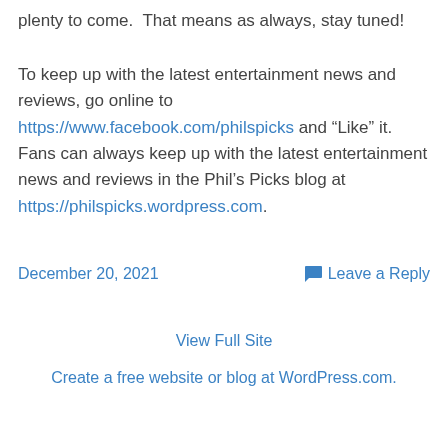plenty to come.  That means as always, stay tuned!
To keep up with the latest entertainment news and reviews, go online to https://www.facebook.com/philspicks and “Like” it.  Fans can always keep up with the latest entertainment news and reviews in the Phil’s Picks blog at https://philspicks.wordpress.com.
December 20, 2021
Leave a Reply
View Full Site
Create a free website or blog at WordPress.com.